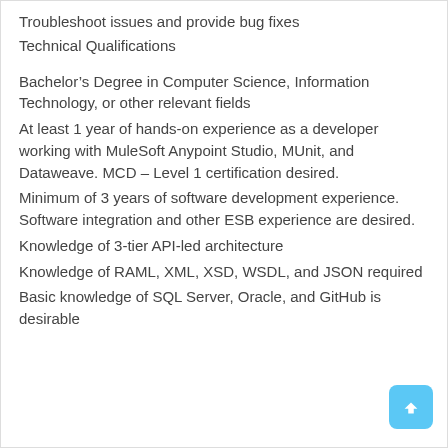Troubleshoot issues and provide bug fixes
Technical Qualifications
Bachelor’s Degree in Computer Science, Information Technology, or other relevant fields
At least 1 year of hands-on experience as a developer working with MuleSoft Anypoint Studio, MUnit, and Dataweave. MCD – Level 1 certification desired.
Minimum of 3 years of software development experience. Software integration and other ESB experience are desired.
Knowledge of 3-tier API-led architecture
Knowledge of RAML, XML, XSD, WSDL, and JSON required
Basic knowledge of SQL Server, Oracle, and GitHub is desirable